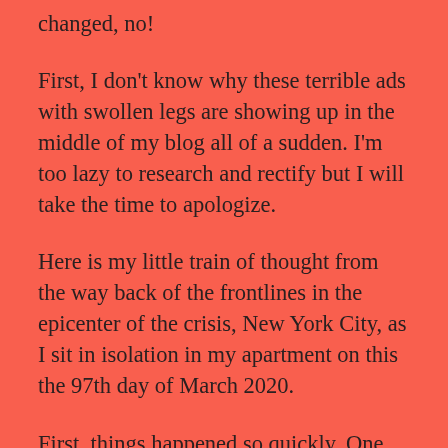changed, no!
First, I don't know why these terrible ads with swollen legs are showing up in the middle of my blog all of a sudden. I'm too lazy to research and rectify but I will take the time to apologize.
Here is my little train of thought from the way back of the frontlines in the epicenter of the crisis, New York City, as I sit in isolation in my apartment on this the 97th day of March 2020.
First, things happened so quickly. One minute we were talking about bars having to operate at half capacity, the next there was no capacity and keep your filthy ass at home. Then the second minute the streets still felt fairly